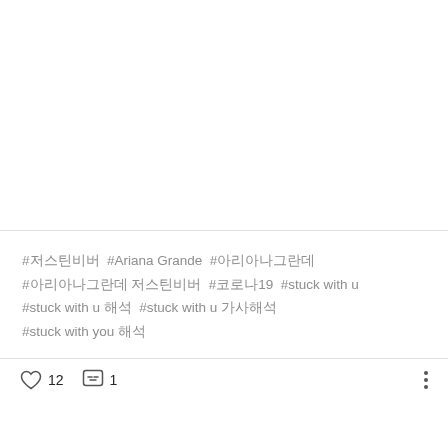[Figure (photo): Blank white image area at the top of the post]
#저스틴비버  #Ariana Grande  #아리아나그란데 #아리아나그란데 저스틴비버  #코로나19  #stuck with u #stuck with u 해석  #stuck with u 가사해석 #stuck with you 해석
12  1